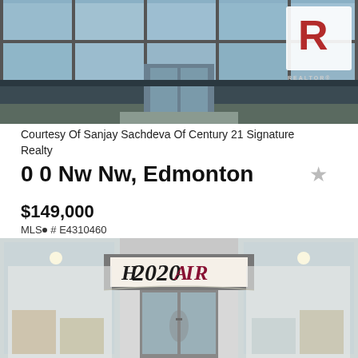[Figure (photo): Exterior photo of a commercial building with large windows and a REALTOR logo watermark in the top right corner]
Courtesy Of Sanjay Sachdeva Of Century 21 Signature Realty
0 0 Nw Nw, Edmonton
$149,000
MLS® # E4310460
[Figure (photo): Interior/exterior storefront photo of a hair salon called HAIR 2020, showing glass entrance with bright interior displays]